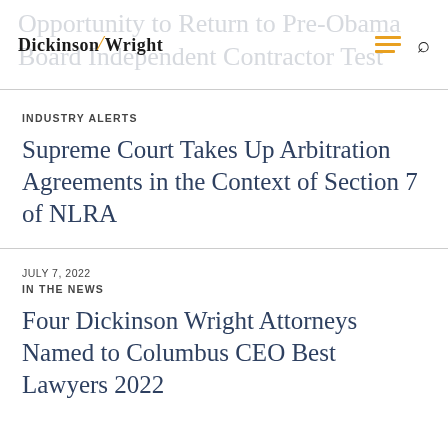Dickinson Wright — logo and navigation
Supreme Court Takes Up Arbitration Agreements in the Context of Section 7 of NLRA
INDUSTRY ALERTS
JULY 7, 2022
IN THE NEWS
Four Dickinson Wright Attorneys Named to Columbus CEO Best Lawyers 2022